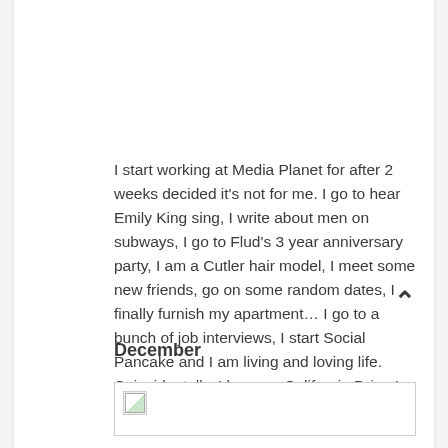I start working at Media Planet for after 2 weeks decided it's not for me. I go to hear Emily King sing, I write about men on subways, I go to Flud's 3 year anniversary party, I am a Cutler hair model, I meet some new friends, go on some random dates, I finally furnish my apartment… I go to a bunch of job interviews, I start Social Pancake and I am living and loving life. Coincidentally, I lose my California Driver's license and I don't really miss it at all.
December
[Figure (photo): Broken/missing image placeholder with small thumbnail icon]